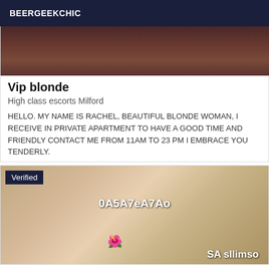BEERGEEKCHIC
[Figure (photo): Partial photo of a person, cropped showing upper body area, dark background tones]
Vip blonde
High class escorts Milford
HELLO. MY NAME IS RACHEL, BEAUTIFUL BLONDE WOMAN, I RECEIVE IN PRIVATE APARTMENT TO HAVE A GOOD TIME AND FRIENDLY CONTACT ME FROM 11AM TO 23 PM I EMBRACE YOU TENDERLY.
[Figure (photo): Photo of a blonde woman with a red flower, with overlaid text '0A5A7eA7Ao' and 'SA sllimso', Verified badge in top left corner]